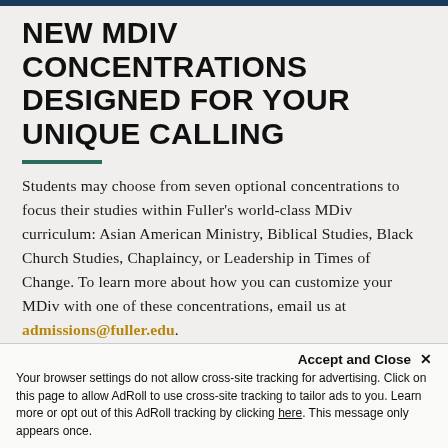NEW MDIV CONCENTRATIONS DESIGNED FOR YOUR UNIQUE CALLING
Students may choose from seven optional concentrations to focus their studies within Fuller's world-class MDiv curriculum: Asian American Ministry, Biblical Studies, Black Church Studies, Chaplaincy, or Leadership in Times of Change. To learn more about how you can customize your MDiv with one of these concentrations, email us at admissions@fuller.edu.
Accept and Close ×
Your browser settings do not allow cross-site tracking for advertising. Click on this page to allow AdRoll to use cross-site tracking to tailor ads to you. Learn more or opt out of this AdRoll tracking by clicking here. This message only appears once.